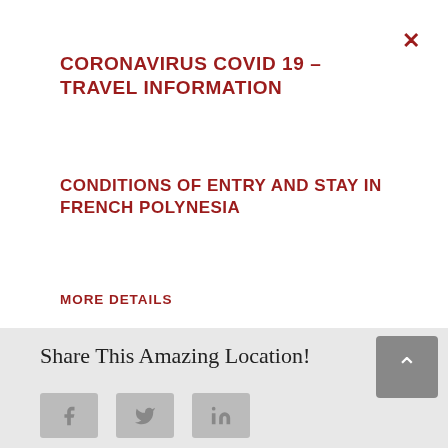CORONAVIRUS COVID 19 – TRAVEL INFORMATION
CONDITIONS OF ENTRY AND STAY IN FRENCH POLYNESIA
MORE DETAILS
Share This Amazing Location!